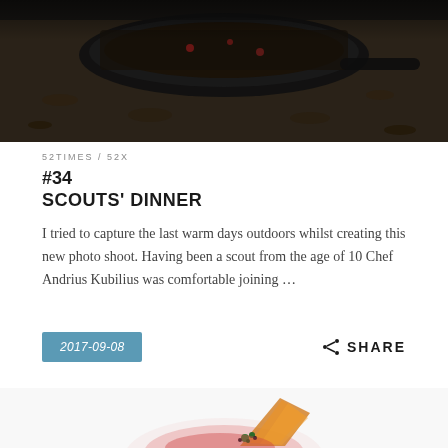[Figure (photo): Dark overhead photo of a cast iron skillet or pan over soil/leaves, outdoor camping scene]
52TIMES / 52X
#34
SCOUTS' DINNER
I tried to capture the last warm days outdoors whilst creating this new photo shoot. Having been a scout from the age of 10 Chef Andrius Kubilius was comfortable joining …
2017-09-08
SHARE
[Figure (photo): Partial view of an elegant plated dish with a crispy orange element and garnish on a pink/red sauce, fine dining presentation]